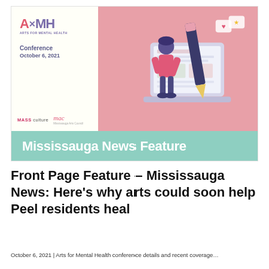[Figure (illustration): A4MH Arts for Mental Health Conference October 6, 2021 banner image. Left panel shows the A4MH logo, conference text, and sponsor logos (MASS culture and mac - Mississauga Arts Council). Right panel shows a pink background with an isometric illustration of a person writing on a large pencil next to an open laptop with social media icons. A green banner at the bottom reads 'Mississauga News Feature'.]
Front Page Feature – Mississauga News: Here's why arts could soon help Peel residents heal
October 6, 2021 | Arts for Mental Health conference details and article teaser